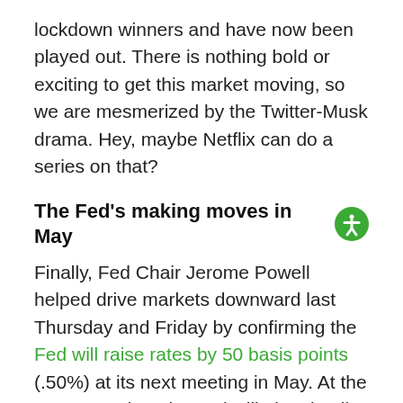lockdown winners and have now been played out. There is nothing bold or exciting to get this market moving, so we are mesmerized by the Twitter-Musk drama. Hey, maybe Netflix can do a series on that?
The Fed's making moves in May
Finally, Fed Chair Jerome Powell helped drive markets downward last Thursday and Friday by confirming the Fed will raise rates by 50 basis points (.50%) at its next meeting in May. At the same meeting, the Fed will also detail the